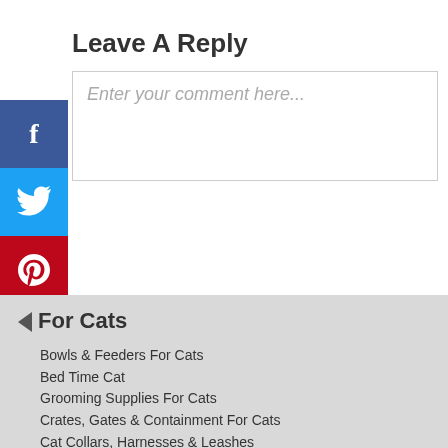Leave A Reply
Enter your comment here...
[Figure (infographic): Social share sidebar with Facebook, Twitter, Pinterest, and Reddit buttons]
For Cats
Bowls & Feeders For Cats
Bed Time Cat
Grooming Supplies For Cats
Crates, Gates & Containment For Cats
Cat Collars, Harnesses & Leashes
Cat Clothes
Toys For Cats
Litter & Waste Disposal